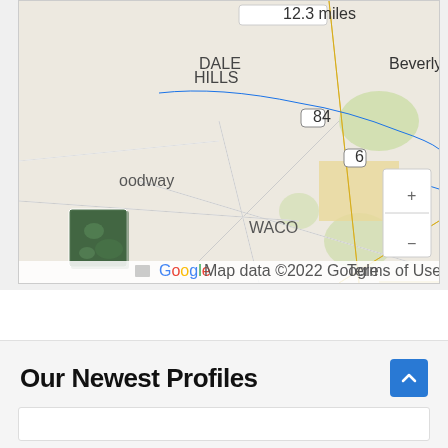[Figure (map): Google Maps screenshot showing a route (blue line) near Beverly Hills area, with road labels including 'oodway', 'WACO', 'Beverly', route markers 84 and 6. Shows '12.3 miles' distance label at top. Includes zoom controls (+/-), satellite thumbnail, and Google attribution footer with 'Map data ©2022 Google' and 'Terms of Use'.]
Our Newest Profiles